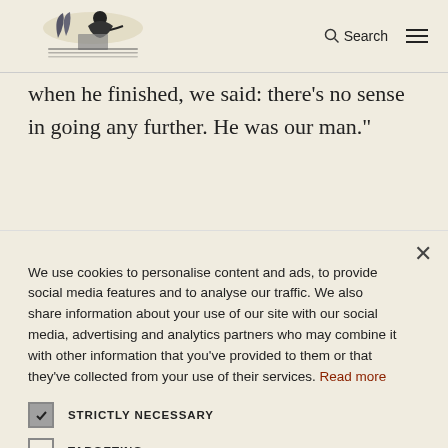[Logo] Search [Menu]
pastor's job.  "We interviewed a number of young — Martin came, he gave a sermon — when he finished, we said: there’s no sense in going any further. He was our man.”
We use cookies to personalise content and ads, to provide social media features and to analyse our traffic. We also share information about your use of our site with our social media, advertising and analytics partners who may combine it with other information that you’ve provided to them or that they’ve collected from your use of their services. Read more
STRICTLY NECESSARY
TARGETING
UNCLASSIFIED
ACCEPT ALL
DECLINE ALL
SHOW DETAILS